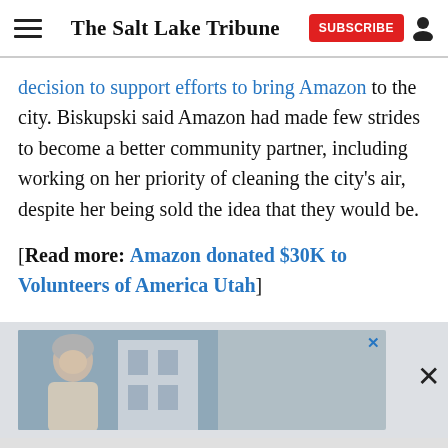The Salt Lake Tribune
decision to support efforts to bring Amazon to the city. Biskupski said Amazon had made few strides to become a better community partner, including working on her priority of cleaning the city's air, despite her being sold the idea that they would be.
[Read more: Amazon donated $30K to Volunteers of America Utah]
[Figure (photo): Advertisement banner showing a smiling woman with gray hair in front of a building, with a close X button]